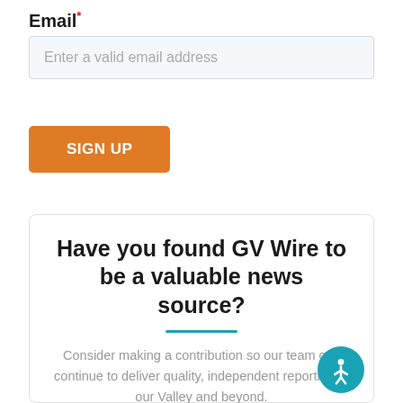Email*
Enter a valid email address
SIGN UP
Have you found GV Wire to be a valuable news source?
Consider making a contribution so our team can continue to deliver quality, independent reporting to our Valley and beyond.